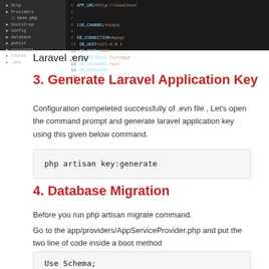[Figure (screenshot): Screenshot showing a file tree panel on the left with folders like Http, Providers, bootstrap, config, database, public, resources, routes, and a dark code editor panel on the right showing .env file contents including APP_URL, LOG_CHANNEL, DB_CONNECTION, DB_HOST, DB_PORT, DB_DATABASE, DB_USERNAME, DB_PASSWORD settings.]
Laravel .env
3. Generate Laravel Application Key
Configuration compeleted successfully of .evn file , Let's open the command prompt and generate laravel application key using this given below command.
php artisan key:generate
4. Database Migration
Before you run php artisan migrate command.
Go to the app/providers/AppServiceProvider.php and put the two line of code inside a boot method
Use Schema;